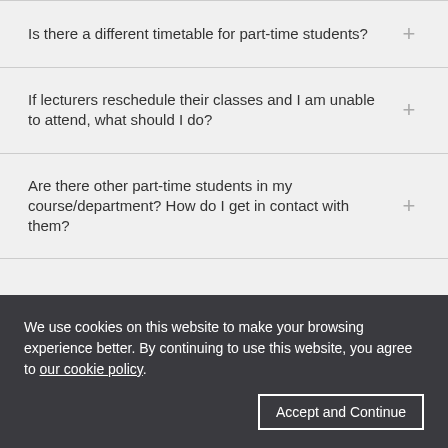Is there a different timetable for part-time students?
If lecturers reschedule their classes and I am unable to attend, what should I do?
Are there other part-time students in my course/department? How do I get in contact with them?
We use cookies on this website to make your browsing experience better. By continuing to use this website, you agree to our cookie policy.
Accept and Continue